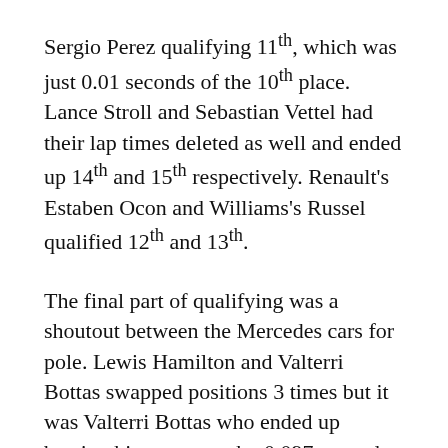Sergio Perez qualifying 11th, which was just 0.01 seconds of the 10th place. Lance Stroll and Sebastian Vettel had their lap times deleted as well and ended up 14th and 15th respectively. Renault's Estaben Ocon and Williams's Russel qualified 12th and 13th.
The final part of qualifying was a shoutout between the Mercedes cars for pole. Lewis Hamilton and Valterri Bottas swapped positions 3 times but it was Valterri Bottas who ended up beating his teammate by 0.097 seconds to claim pole position. Pierre Gasly, F1's newest race winner qualified a brilliant 4th. Ricciardo qualified 5th for Renault and the Redbulls of Max Verstappen and Alex Albon ended up 3rd and 6th